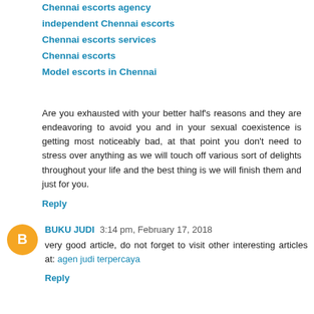Chennai escorts agency
independent Chennai escorts
Chennai escorts services
Chennai escorts
Model escorts in Chennai
Are you exhausted with your better half's reasons and they are endeavoring to avoid you and in your sexual coexistence is getting most noticeably bad, at that point you don't need to stress over anything as we will touch off various sort of delights throughout your life and the best thing is we will finish them and just for you.
Reply
BUKU JUDI 3:14 pm, February 17, 2018
very good article, do not forget to visit other interesting articles at: agen judi terpercaya
Reply